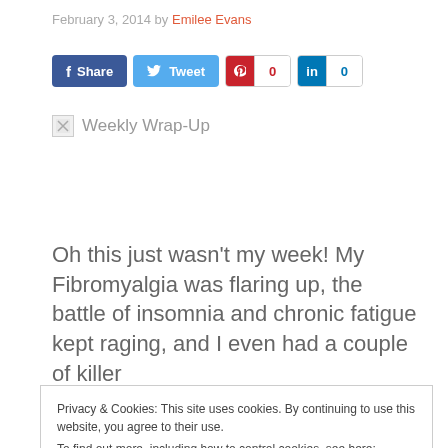February 3, 2014 by Emilee Evans
[Figure (infographic): Social sharing buttons: Facebook Share, Twitter Tweet, Pinterest with count 0, LinkedIn with count 0]
[Figure (photo): Broken image placeholder with label 'Weekly Wrap-Up']
Oh this just wasn’t my week! My Fibromyalgia was flaring up, the battle of insomnia and chronic fatigue kept raging, and I even had a couple of killer
Privacy & Cookies: This site uses cookies. By continuing to use this website, you agree to their use.
To find out more, including how to control cookies, see here: Cookie Policy
because I’m busy with other work. I had a lot of time